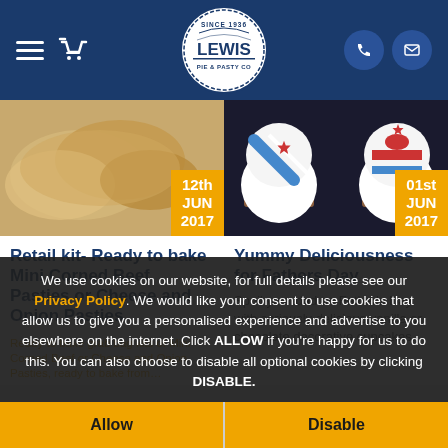[Figure (screenshot): Website header with navy background, hamburger menu, basket icon, Lewis Pie and Pasty Co logo in center, phone and email icons on right]
[Figure (photo): Left card: photo of golden pasties/baked goods with orange date badge showing 12th JUN 2017]
[Figure (photo): Right card: photo of decorative cupcakes with patriotic designs, orange date badge showing 01st JUN 2017]
Retail kit- Ready to bake Mini Corned Beef Pasties or Cheese and Onion Pasties
Yummy Deliciousness for Fathers Day
Spoil your dad on Father's Day with seriously delicious vanilla or chocolate decorative cupcakes.
Ready to bake grab bag kits of Mini Corned Beef or Cheese and Onion Pasties, ready to bake from…
We use cookies on our website, for full details please see our Privacy Policy. We would like your consent to use cookies that allow us to give you a personalised experience and advertise to you elsewhere on the internet. Click ALLOW if you're happy for us to do this. You can also choose to disable all optional cookies by clicking DISABLE.